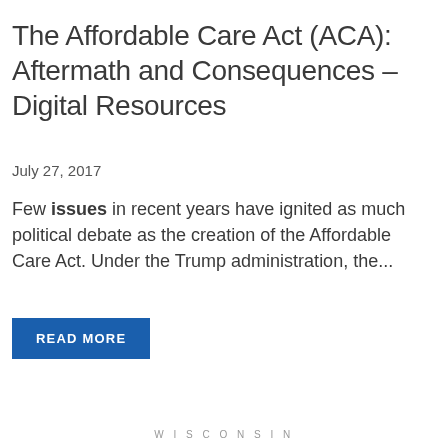The Affordable Care Act (ACA): Aftermath and Consequences – Digital Resources
July 27, 2017
Few issues in recent years have ignited as much political debate as the creation of the Affordable Care Act. Under the Trump administration, the...
READ MORE
WISCONSIN